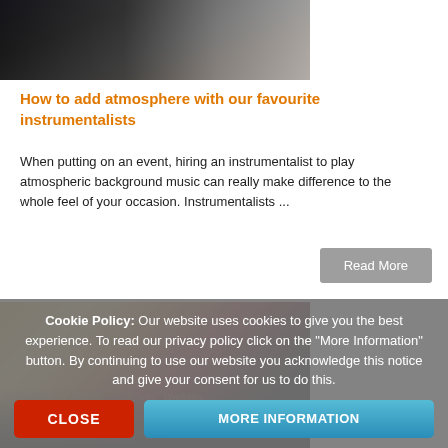[Figure (photo): Musicians performing, partially visible — top cropped photo showing people with instruments in dark setting]
How to add atmosphere with our favourite instrumentalists
When putting on an event, hiring an instrumentalist to play atmospheric background music can really make difference to the whole feel of your occasion.  Instrumentalists ...
Read More
[Figure (photo): Four musicians standing in an ornate golden hall — string quartet in formal attire]
Cookie Policy: Our website uses cookies to give you the best experience. To read our privacy policy click on the "More Information" button. By continuing to use our website you acknowledge this notice and give your consent for us to do this.
CLOSE
MORE INFORMATION